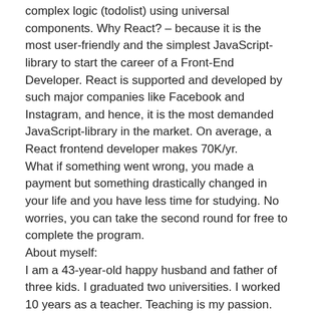complex logic (todolist) using universal components. Why React? – because it is the most user-friendly and the simplest JavaScript-library to start the career of a Front-End Developer. React is supported and developed by such major companies like Facebook and Instagram, and hence, it is the most demanded JavaScript-library in the market. On average, a React frontend developer makes 70K/yr.
What if something went wrong, you made a payment but something drastically changed in your life and you have less time for studying. No worries, you can take the second round for free to complete the program.
About myself:
I am a 43-year-old happy husband and father of three kids. I graduated two universities. I worked 10 years as a teacher. Teaching is my passion. When my eldest son was 11, I prepared him for coding competition among adults where he won and was enrolled in a Front-End developer program. He successfully completed the program.
Contact details:
e-mai